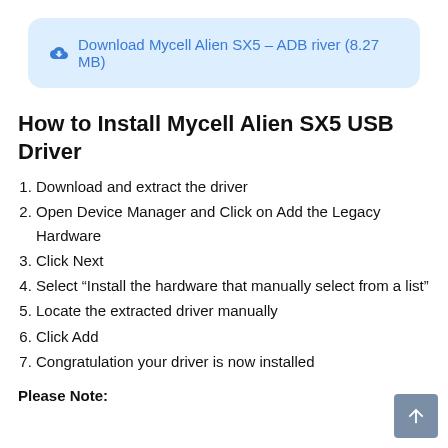[Figure (other): Download button box with cloud icon and link text: Download Mycell Alien SX5 – ADB river (8.27 MB)]
How to Install Mycell Alien SX5 USB Driver
Download and extract the driver
Open Device Manager and Click on Add the Legacy Hardware
Click Next
Select “Install the hardware that manually select from a list”
Locate the extracted driver manually
Click Add
Congratulation your driver is now installed
Please Note: